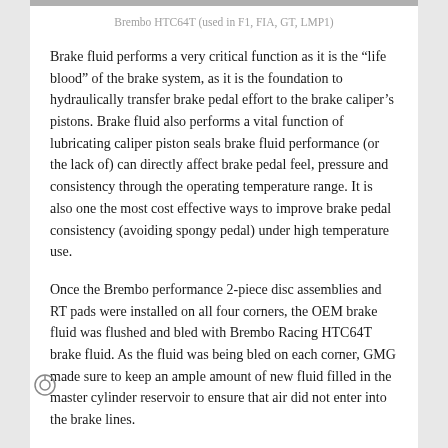Brembo HTC64T (used in F1, FIA, GT, LMP1)
Brake fluid performs a very critical function as it is the “life blood” of the brake system, as it is the foundation to hydraulically transfer brake pedal effort to the brake caliper’s pistons. Brake fluid also performs a vital function of lubricating caliper piston seals brake fluid performance (or the lack of) can directly affect brake pedal feel, pressure and consistency through the operating temperature range. It is also one the most cost effective ways to improve brake pedal consistency (avoiding spongy pedal) under high temperature use.
Once the Brembo performance 2-piece disc assemblies and RT pads were installed on all four corners, the OEM brake fluid was flushed and bled with Brembo Racing HTC64T brake fluid. As the fluid was being bled on each corner, GMG made sure to keep an ample amount of new fluid filled in the master cylinder reservoir to ensure that air did not enter into the brake lines.